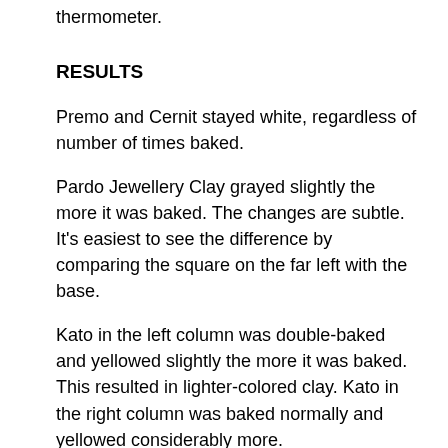thermometer.
RESULTS
Premo and Cernit stayed white, regardless of number of times baked.
Pardo Jewellery Clay grayed slightly the more it was baked. The changes are subtle.  It’s easiest to see the difference by comparing the square on the far left with the base.
Kato in the left column was double-baked and yellowed slightly the more it was baked.  This resulted in lighter-colored clay. Kato in the right column was baked normally and yellowed considerably more.